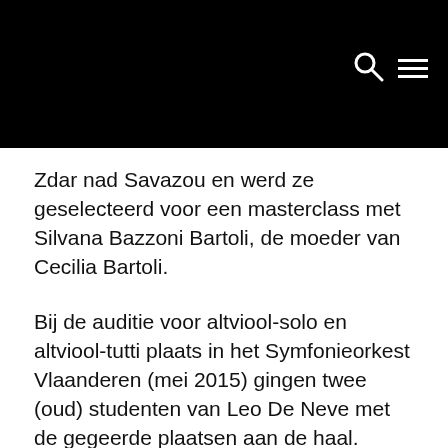Zdar nad Savazou en werd ze geselecteerd voor een masterclass met Silvana Bazzoni Bartoli, de moeder van Cecilia Bartoli.
Bij de auditie voor altviool-solo en altviool-tutti plaats in het Symfonieorkest Vlaanderen (mei 2015) gingen twee (oud) studenten van Leo De Neve met de gegeerde plaatsen aan de haal. Alumna Bieke Jacobus neemt de 1ste solo plaats in en Dino Dragovic gaat als tutti altviolist aan de slag.
Student Miasael Mejia Rondo won de tweede prijs in de Stephan de Jonghe Piano wedstrijd.